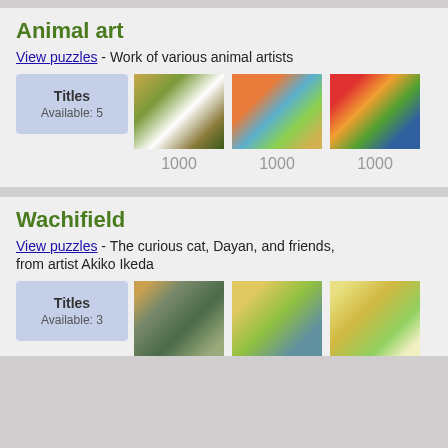Animal art
View puzzles - Work of various animal artists
Titles Available: 5
1000
1000
1000
Wachifield
View puzzles - The curious cat, Dayan, and friends, from artist Akiko Ikeda
Titles Available: 3